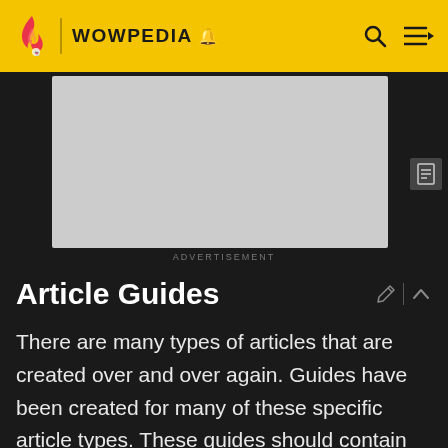WOWPEDIA
[Figure (other): Advertisement placeholder box (grey rectangle)]
ADVERTISEMENT
Article Guides
There are many types of articles that are created over and over again. Guides have been created for many of these specific article types. These guides should contain everything you need to know to create the article, i.e. summarizing applicable guidelines and policies, linking to boilerplates and explaining how to use them, and explaining the standard styles and information used on